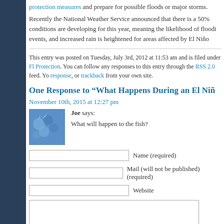protection measures and prepare for possible floods or major storms.
Recently the National Weather Service announced that there is a 50% conditions are developing for this year, meaning the likelihood of floodi events, and increased rain is heightened for areas affected by El Niño
This entry was posted on Tuesday, July 3rd, 2012 at 11:53 am and is filed under Fl Protection. You can follow any responses to this entry through the RSS 2.0 feed. Yo response, or trackback from your own site.
One Response to “What Happens During an El Niñ
November 10th, 2015 at 12:27 pm
Joe says: What will happen to the fish?
Name (required)
Mail (will not be published) (required)
Website